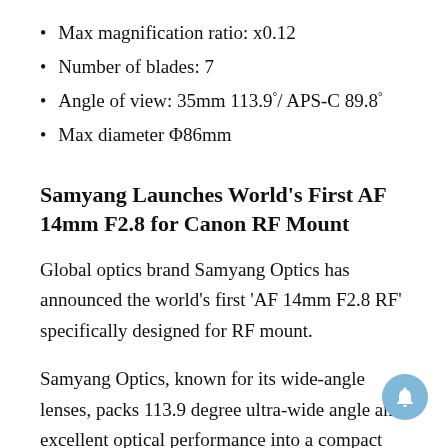Max magnification ratio: x0.12
Number of blades: 7
Angle of view: 35mm 113.9°/ APS-C 89.8°
Max diameter Φ86mm
Samyang Launches World's First AF 14mm F2.8 for Canon RF Mount
Global optics brand Samyang Optics has announced the world's first 'AF 14mm F2.8 RF' specifically designed for RF mount.
Samyang Optics, known for its wide-angle lenses, packs 113.9 degree ultra-wide angle and excellent optical performance into a compact lens designed for mirrorless cameras.